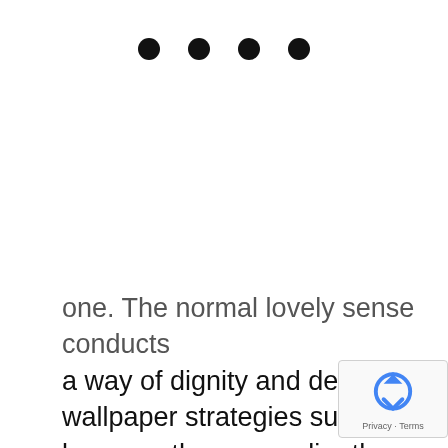[Figure (other): Four black filled circles arranged horizontally as a page indicator / navigation dots row]
one. The normal lovely sense conducts a way of dignity and designer wallpaper strategies such because the one earlier than can truly help in drawing the inside design collectively. The tiled strikes a uniformed, organised look that's actually difficult. For individuals who require a contact of historical past of their eating